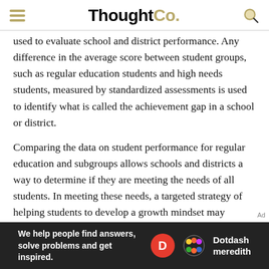ThoughtCo.
used to evaluate school and district performance. Any difference in the average score between student groups, such as regular education students and high needs students, measured by standardized assessments is used to identify what is called the achievement gap in a school or district.
Comparing the data on student performance for regular education and subgroups allows schools and districts a way to determine if they are meeting the needs of all students. In meeting these needs, a targeted strategy of helping students to develop a growth mindset may minimize the achievement gap.
[Figure (other): Dotdash Meredith advertisement banner: 'We help people find answers, solve problems and get inspired.']